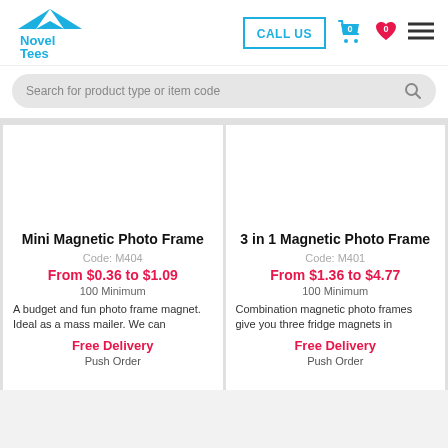[Figure (logo): Novel Tees logo with blue tent/circus top and blue text]
CALL US
Search for product type or item code
Mini Magnetic Photo Frame
Code: M404
From $0.36 to $1.09
100 Minimum
A budget and fun photo frame magnet. Ideal as a mass mailer. We can
Free Delivery
Push Order
3 in 1 Magnetic Photo Frame
Code: M401
From $1.36 to $4.77
100 Minimum
Combination magnetic photo frames give you three fridge magnets in
Free Delivery
Push Order